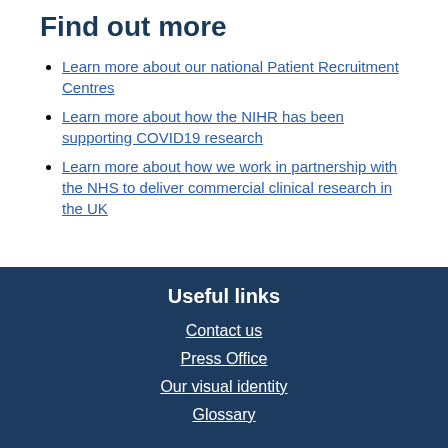Find out more
Learn more about our national Patient Recruitment Centres
Learn more about how the NIHR has been supporting COVID19 research
Learn more about how we work in partnership with the NHS to deliver commercial clinical research in the UK
Useful links
Contact us
Press Office
Our visual identity
Glossary